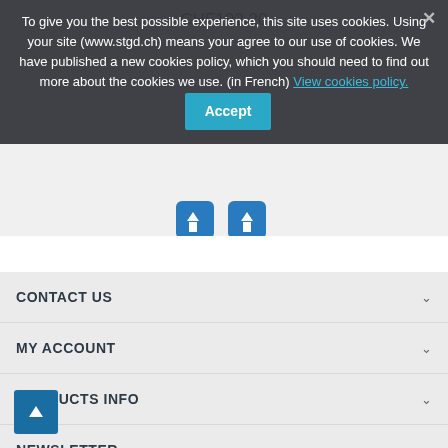CHF192.20
To give you the best possible experience, this site uses cookies. Using your site (www.stgd.ch) means your agree to our use of cookies. We have published a new cookies policy, which you should need to find out more about the cookies we use. (in French) View cookies policy.
Accept
CONTACT US
MY ACCOUNT
PRODUCTS INFO
NEWSLETTER